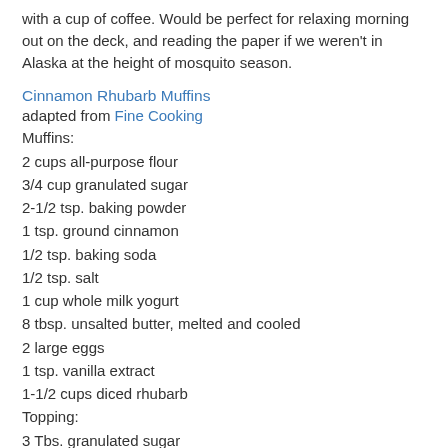with a cup of coffee. Would be perfect for relaxing morning out on the deck, and reading the paper if we weren't in Alaska at the height of mosquito season.
Cinnamon Rhubarb Muffins
adapted from Fine Cooking
Muffins:
2 cups all-purpose flour
3/4 cup granulated sugar
2-1/2 tsp. baking powder
1 tsp. ground cinnamon
1/2 tsp. baking soda
1/2 tsp. salt
1 cup whole milk yogurt
8 tbsp. unsalted butter, melted and cooled
2 large eggs
1 tsp. vanilla extract
1-1/2 cups diced rhubarb
Topping:
3 Tbs. granulated sugar
1/2 tsp. ground cinnamon